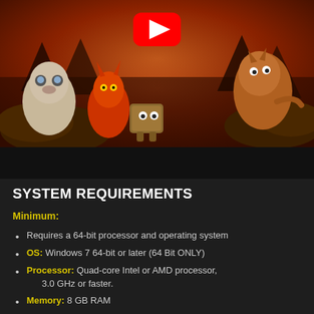[Figure (screenshot): YouTube video thumbnail showing animated fantasy creatures (a raccoon-like creature, a red monster, a box creature, and a dinosaur-like creature) in a reddish forest scene with a YouTube play button overlay.]
SYSTEM REQUIREMENTS
Minimum:
Requires a 64-bit processor and operating system
OS: Windows 7 64-bit or later (64 Bit ONLY)
Processor: Quad-core Intel or AMD processor, 3.0 GHz or faster.
Memory: 8 GB RAM
Graphics: NVIDIA GeForce GTX 960 or AMD